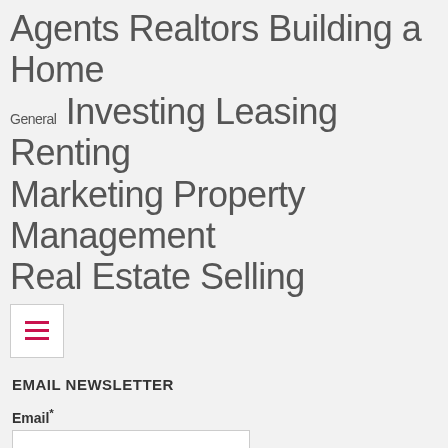Agents Realtors Building a Home General Investing Leasing Renting Marketing Property Management Real Estate Selling
[Figure (other): Hamburger menu button icon (three horizontal lines)]
EMAIL NEWSLETTER
Email*
SUBSCRIBE
Designed using Magazine Hoot. Powered by WordPress.